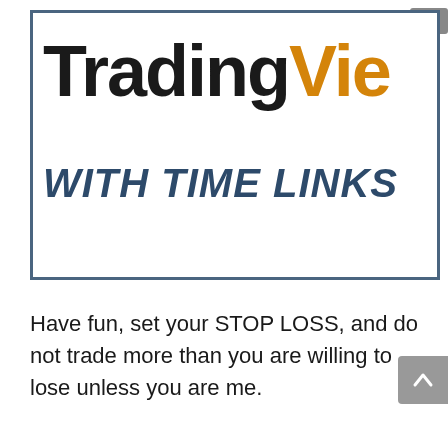[Figure (logo): TradingView logo box with dark border. 'Trading' in black bold text and 'Vie' in orange bold text, with 'WITH TIME LINKS' in dark blue italic bold text below.]
Have fun, set your STOP LOSS, and do not trade more than you are willing to lose unless you are me.
[Figure (illustration): Dark crescent moon icon (night mode toggle)]